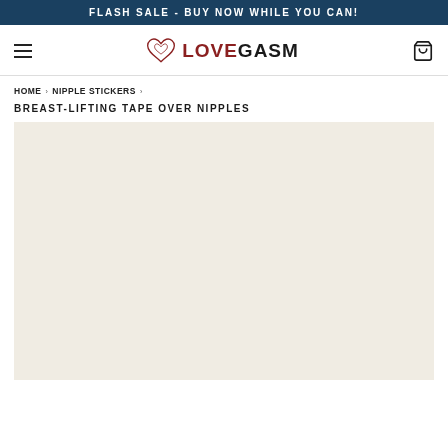FLASH SALE - BUY NOW WHILE YOU CAN!
[Figure (logo): Lovegasm logo with heart icon and hamburger menu, cart icon on navigation bar]
HOME › NIPPLE STICKERS ›
BREAST-LIFTING TAPE OVER NIPPLES
[Figure (photo): Product image area with beige/cream background, product not visible]